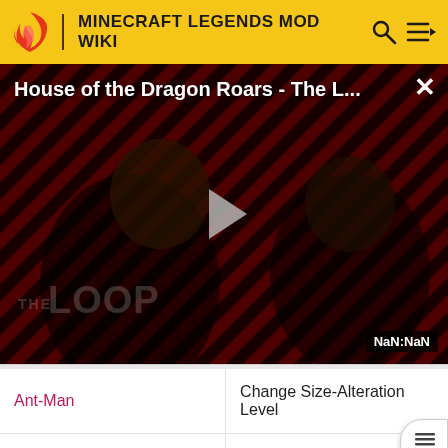MINECRAFT LEGENDS MOD WIKI
[Figure (screenshot): Video player showing 'House of the Dragon Roars - The L...' with a play button, THE LOOP branding, and NaN:NaN timestamp]
| Ant-Man | Change Size-Alteration Level |
| Batman | Switch Quick-Use Gadget |
| Black Adam | Lightning Oppression |
| Black Canary | Three-Gun Bullet |